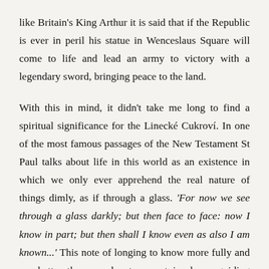like Britain's King Arthur it is said that if the Republic is ever in peril his statue in Wenceslaus Square will come to life and lead an army to victory with a legendary sword, bringing peace to the land.

With this in mind, it didn't take me long to find a spiritual significance for the Linecké Cukroví. In one of the most famous passages of the New Testament St Paul talks about life in this world as an existence in which we only ever apprehend the real nature of things dimly, as if through a glass. 'For now we see through a glass darkly; but then face to face: now I know in part; but then shall I know even as also I am known...' This note of longing to know more fully and see better than we do at present is also a guiding theme of the 'O' Antiphons which the Catholic and Anglican church pray during this last week